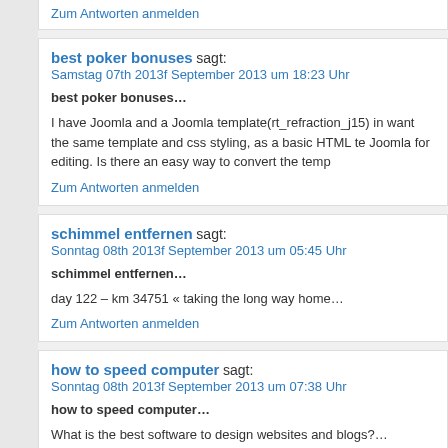Zum Antworten anmelden
best poker bonuses sagt:
Samstag 07th 2013f September 2013 um 18:23 Uhr
best poker bonuses…
I have Joomla and a Joomla template(rt_refraction_j15) in want the same template and css styling, as a basic HTML te Joomla for editing. Is there an easy way to convert the temp
Zum Antworten anmelden
schimmel entfernen sagt:
Sonntag 08th 2013f September 2013 um 05:45 Uhr
schimmel entfernen…
day 122 – km 34751 « taking the long way home…
Zum Antworten anmelden
how to speed computer sagt:
Sonntag 08th 2013f September 2013 um 07:38 Uhr
how to speed computer…
What is the best software to design websites and blogs?…
Zum Antworten anmelden